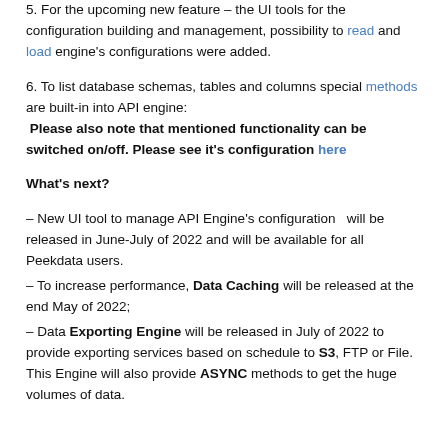5. For the upcoming new feature – the UI tools for the configuration building and management, possibility to read and load engine's configurations were added.
6. To list database schemas, tables and columns special methods are built-in into API engine: Please also note that mentioned functionality can be switched on/off. Please see it's configuration here
What's next?
– New UI tool to manage API Engine's configuration  will be released in June-July of 2022 and will be available for all Peekdata users.
– To increase performance, Data Caching will be released at the end May of 2022;
– Data Exporting Engine will be released in July of 2022 to provide exporting services based on schedule to S3, FTP or File. This Engine will also provide ASYNC methods to get the huge volumes of data.